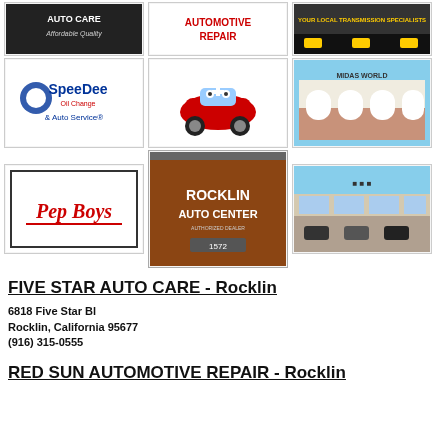[Figure (photo): Row 1: Three auto care business logos/photos - Five Star Auto Care logo, Automotive Repair logo, and a local transmission specialists image]
[Figure (photo): Row 2: SpeedDee Oil Change & Auto Service logo, cartoon red car mascot, and Midas World auto service building photo]
[Figure (photo): Row 3: Pep Boys logo, Rocklin Auto Center building photo, and a dealership building photo]
FIVE STAR AUTO CARE - Rocklin
6818 Five Star Bl
Rocklin, California 95677
(916) 315-0555
RED SUN AUTOMOTIVE REPAIR - Rocklin